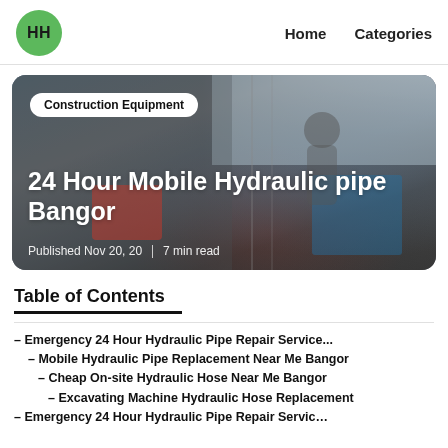HH   Home   Categories
[Figure (photo): Photo of a worker with construction/hydraulic equipment in a service van, with category badge 'Construction Equipment' and title '24 Hour Mobile Hydraulic pipe Bangor', published Nov 20, 20, 7 min read]
Table of Contents
– Emergency 24 Hour Hydraulic Pipe Repair Service...
– Mobile Hydraulic Pipe Replacement Near Me Bangor
– Cheap On-site Hydraulic Hose Near Me Bangor
– Excavating Machine Hydraulic Hose Replacement
– Emergency 24 Hour Hydraulic Pipe Repair Servic...